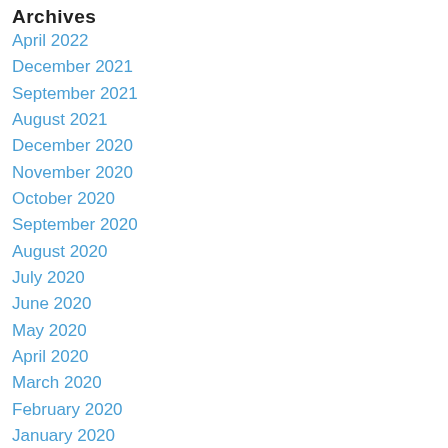Archives
April 2022
December 2021
September 2021
August 2021
December 2020
November 2020
October 2020
September 2020
August 2020
July 2020
June 2020
May 2020
April 2020
March 2020
February 2020
January 2020
December 2019
November 2019
October 2019
September 2019